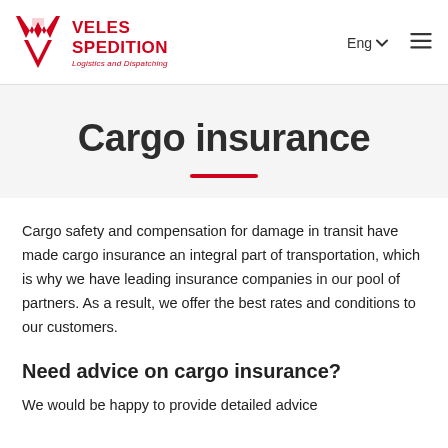VELES SPEDITION Logistics and Dispatching | Eng | menu
Cargo insurance
Cargo safety and compensation for damage in transit have made cargo insurance an integral part of transportation, which is why we have leading insurance companies in our pool of partners. As a result, we offer the best rates and conditions to our customers.
Need advice on cargo insurance?
We would be happy to provide detailed advice